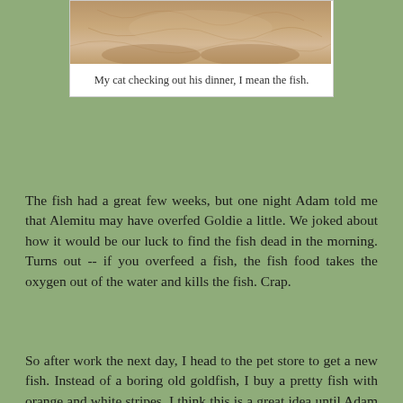[Figure (photo): Close-up photo of a cat's face peering down, likely at a fish tank. The cat's fur is visible with warm brown/tan tones.]
My cat checking out his dinner, I mean the fish.
The fish had a great few weeks, but one night Adam told me that Alemitu may have overfed Goldie a little. We joked about how it would be our luck to find the fish dead in the morning. Turns out -- if you overfeed a fish, the fish food takes the oxygen out of the water and kills the fish. Crap.
So after work the next day, I head to the pet store to get a new fish. Instead of a boring old goldfish, I buy a pretty fish with orange and white stripes. I think this is a great idea until Adam asks me how I'm going to explain the change of color to Alemitu. Simple. We got a new fish and the other one went bye bye. She's 2. I showed Alemitu her new fish and immediately she began asking for her old one. Crap.
After explaining that the old fish went bye bye so that the new fish could live with us, Alemitu was once again excited. We had to clean the fish tank before we could put the new fish in it. Alemitu